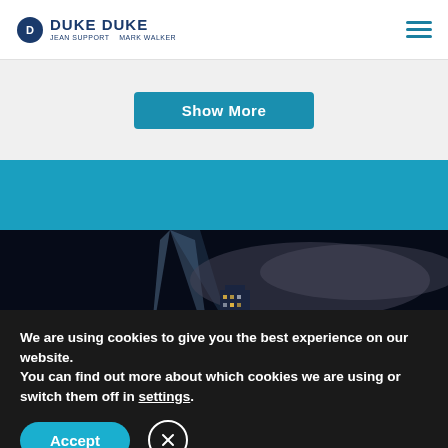DUKE DUKE
[Figure (screenshot): Show More button on light gray background]
[Figure (photo): Nighttime cityscape with suspension bridge lit up, tall buildings with lights, and industrial smoke/steam plume under dark blue sky]
We are using cookies to give you the best experience on our website.
You can find out more about which cookies we are using or switch them off in settings.
Accept